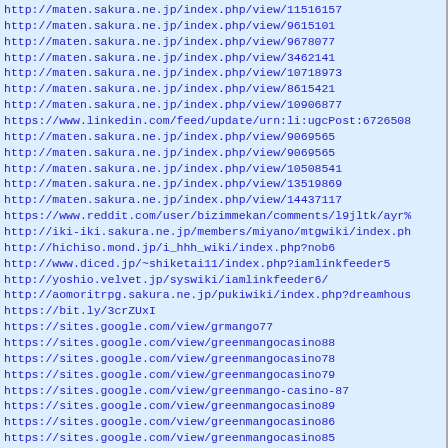http://maten.sakura.ne.jp/index.php/view/11516157
http://maten.sakura.ne.jp/index.php/view/9615101
http://maten.sakura.ne.jp/index.php/view/9678077
http://maten.sakura.ne.jp/index.php/view/3462141
http://maten.sakura.ne.jp/index.php/view/10718973
http://maten.sakura.ne.jp/index.php/view/8615421
http://maten.sakura.ne.jp/index.php/view/10906877
https://www.linkedin.com/feed/update/urn:li:ugcPost:6726508
http://maten.sakura.ne.jp/index.php/view/9069565
http://maten.sakura.ne.jp/index.php/view/9069565
http://maten.sakura.ne.jp/index.php/view/10508541
http://maten.sakura.ne.jp/index.php/view/13519869
http://maten.sakura.ne.jp/index.php/view/14437117
https://www.reddit.com/user/bizimmekan/comments/l9jltk/ayr%
http://iki-iki.sakura.ne.jp/members/miyano/mtgwiki/index.ph
http://hichiso.mond.jp/i_hhh_wiki/index.php?nob6
http://www.diced.jp/~shiketai11/index.php?iamlinkfeeder5
http://yoshio.velvet.jp/syswiki/iamlinkfeeder6/
http://aomoritrpg.sakura.ne.jp/pukiwiki/index.php?dreamhous
https://bit.ly/3crZUxI
https://sites.google.com/view/grmango77
https://sites.google.com/view/greenmangocasino88
https://sites.google.com/view/greenmangocasino78
https://sites.google.com/view/greenmangocasino79
https://sites.google.com/view/greenmango-casino-87
https://sites.google.com/view/greenmangocasino89
https://sites.google.com/view/greenmangocasino86
https://sites.google.com/view/greenmangocasino85
http://kimimoru.minibird.jp/moruwiki/index.php?iamlinkfeede